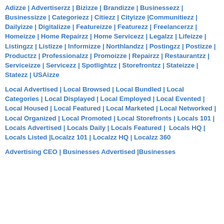Adizze | Advertiserzz | Bizizze | Brandizze | Businessezz | Businessizze | Categoriezz | Citiezz | Cityizze |Communitiezz | Dailyizze | Digitalizze | Featureizze | Featurezz | Freelancerzz | Homeizze | Home Repairzz | Home Servicezz | Legalzz | Lifeizze | Listingzz | Listizze | Informizze | Northlandzz | Postingzz | Postizze | Productzz | Professionalzz | Promoizze | Repairzz | Restaurantzz | Serviceizze | Servicezz | Spotlightzz | Storefrontzz | Stateizze | Statezz | USAizze
Local Advertised | Local Browsed | Local Bundled | Local Categories | Local Displayed | Local Employed | Local Evented | Local Housed | Local Featured | Local Marketed | Local Networked | Local Organized | Local Promoted | Local Storefronts | Locals 101 | Locals Advertised | Locals Daily | Locals Featured | Locals HQ | Locals Listed |Localzz 101 | Localzz HQ | Localzz 360
Advertising CEO | Businesses Advertised |Businesses